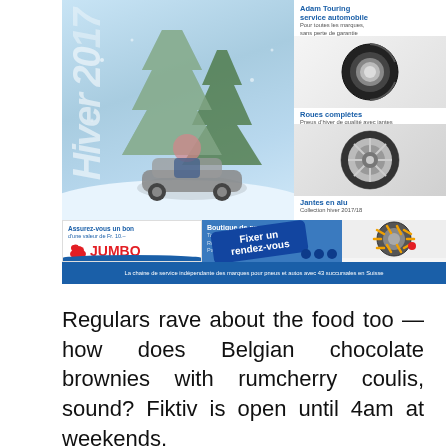[Figure (photo): Winter advertisement for Adam Touring automobile service featuring a child driving a toy car in snow with Christmas tree, plus winter tire products and Jumbo voucher promotion]
Regulars rave about the food too — how does Belgian chocolate brownies with rumcherry coulis, sound? Fiktiv is open until 4am at weekends.